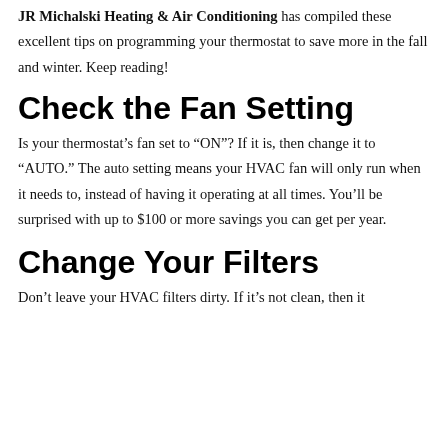JR Michalski Heating & Air Conditioning has compiled these excellent tips on programming your thermostat to save more in the fall and winter. Keep reading!
Check the Fan Setting
Is your thermostat’s fan set to “ON”? If it is, then change it to “AUTO.” The auto setting means your HVAC fan will only run when it needs to, instead of having it operating at all times. You’ll be surprised with up to $100 or more savings you can get per year.
Change Your Filters
Don’t leave your HVAC filters dirty. If it’s not clean, then it